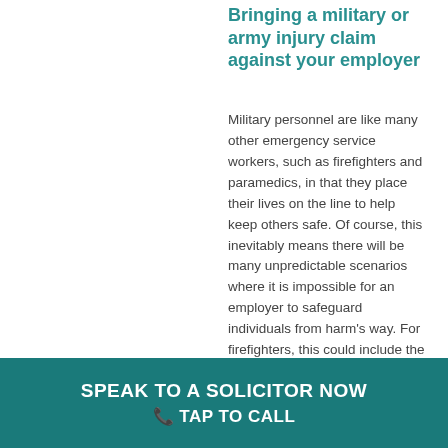Bringing a military or army injury claim against your employer
Military personnel are like many other emergency service workers, such as firefighters and paramedics, in that they place their lives on the line to help keep others safe. Of course, this inevitably means there will be many unpredictable scenarios where it is impossible for an employer to safeguard individuals from harm's way. For firefighters, this could include the collapse of building infrastructure whilst dealing with the fire. For paramedics, this could involve a highspeed collision whilst racing to the scene of an accident. For military staff, personnel on the frontline of a military operation may sadly be injured or lose
SPEAK TO A SOLICITOR NOW 📞 TAP TO CALL